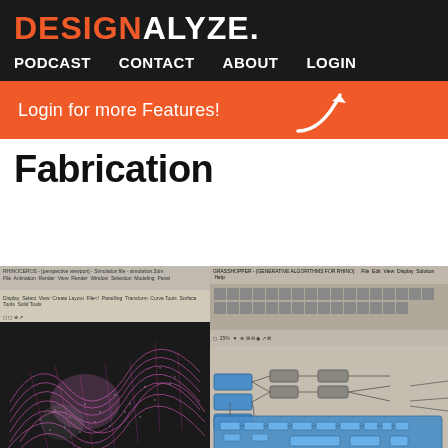DESIGNALYZE.
PODCAST  CONTACT  ABOUT  LOGIN
Login for more Features!
Fabrication
[Figure (screenshot): Split screenshot showing a 3D parametric surface model (pink/magenta wave form) in Rhino viewport on the left, and Grasshopper parametric node editor on the right with blue node groups and connecting wires, with an orange circle accent in the top-right corner.]